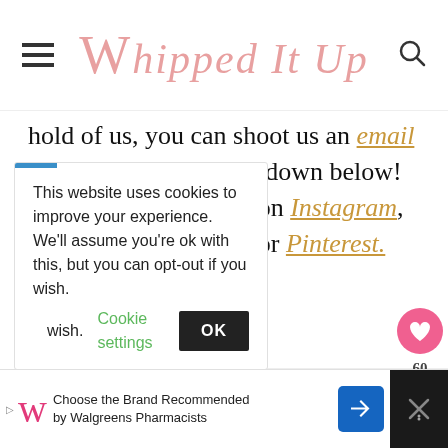Whipped It Up
hold of us, you can shoot us an email or leave a comment down below! We can also be found on Instagram, Facebook, Twitter, or Pinterest.
[Figure (infographic): Social media share icons: Facebook (f), Twitter bird, Pinterest (P)]
This website uses cookies to improve your experience. We'll assume you're ok with this, but you can opt-out if you wish. Cookie settings OK
WHAT'S NEXT → Fully Loaded Chili Dogs
Choose the Brand Recommended by Walgreens Pharmacists